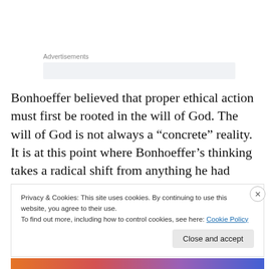Advertisements
Bonhoeffer believed that proper ethical action must first be rooted in the will of God. The will of God is not always a “concrete” reality. It is at this point where Bonhoeffer’s thinking takes a radical shift from anything he had previously articulated about the will of God, and his own complicit actions against the state. In a broken and
Privacy & Cookies: This site uses cookies. By continuing to use this website, you agree to their use.
To find out more, including how to control cookies, see here: Cookie Policy
Close and accept